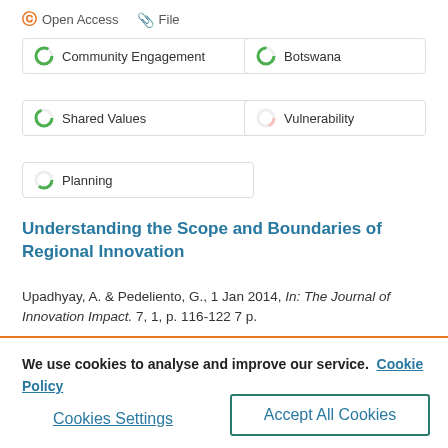Open Access   File
Community Engagement
Botswana
Shared Values
Vulnerability
Planning
Understanding the Scope and Boundaries of Regional Innovation
Upadhyay, A. & Pedeliento, G., 1 Jan 2014, In: The Journal of Innovation Impact. 7, 1, p. 116-122 7 p.
We use cookies to analyse and improve our service.  Cookie Policy
Cookies Settings
Accept All Cookies